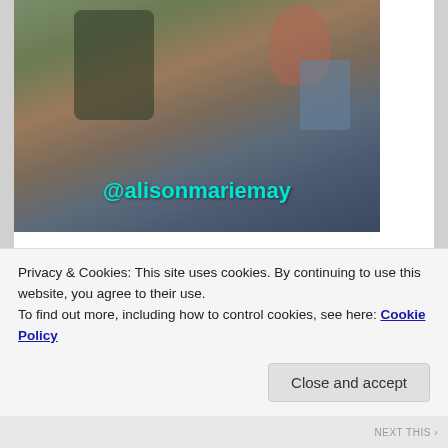[Figure (photo): A person carrying a baby in a babywearing carrier outdoors. Text overlay reads '@alisonmariemay' in cyan/teal color.]
It feels nice to help other people feel good.
Thought I'd share some babywearing pics to get you in the mood....will try to put up a babywearing post once a week. If you have any specific requests or questions, do let me know. Who knows. Maybe I'll even film some new videos and show you how to babywear four and a half
Privacy & Cookies: This site uses cookies. By continuing to use this website, you agree to their use.
To find out more, including how to control cookies, see here: Cookie Policy
Close and accept